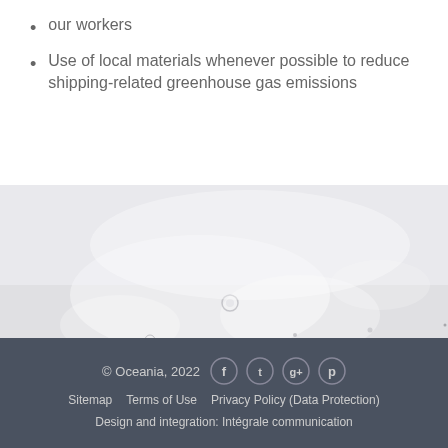our workers
Use of local materials whenever possible to reduce shipping-related greenhouse gas emissions
[Figure (photo): Abstract close-up photo of water surface with bubbles and circular patterns, light grey and white tones]
© Oceania, 2022   Sitemap   Terms of Use   Privacy Policy (Data Protection)   Design and integration: Intégrale communication